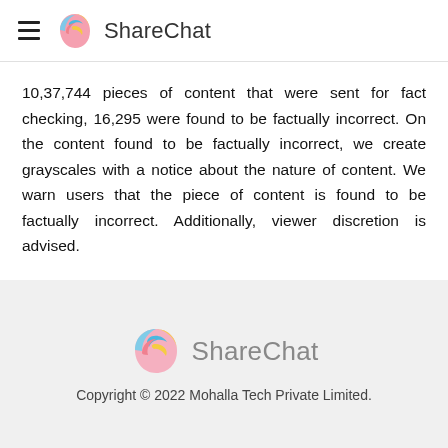ShareChat
10,37,744 pieces of content that were sent for fact checking, 16,295 were found to be factually incorrect. On the content found to be factually incorrect, we create grayscales with a notice about the nature of content. We warn users that the piece of content is found to be factually incorrect. Additionally, viewer discretion is advised.
ShareChat
Copyright © 2022 Mohalla Tech Private Limited.